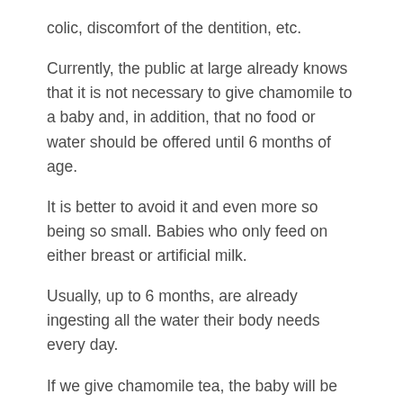colic, discomfort of the dentition, etc.
Currently, the public at large already knows that it is not necessary to give chamomile to a baby and, in addition, that no food or water should be offered until 6 months of age.
It is better to avoid it and even more so being so small. Babies who only feed on either breast or artificial milk.
Usually, up to 6 months, are already ingesting all the water their body needs every day.
If we give chamomile tea, the baby will be satiated, as he has a very small stomach.